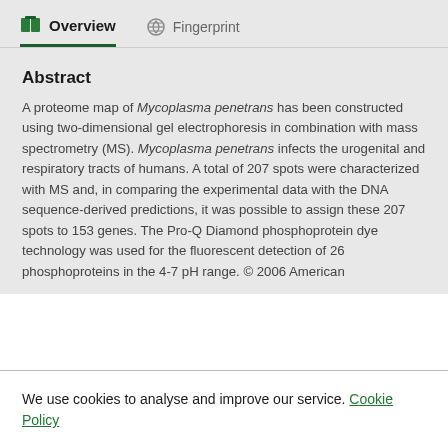Overview   Fingerprint
Abstract
A proteome map of Mycoplasma penetrans has been constructed using two-dimensional gel electrophoresis in combination with mass spectrometry (MS). Mycoplasma penetrans infects the urogenital and respiratory tracts of humans. A total of 207 spots were characterized with MS and, in comparing the experimental data with the DNA sequence-derived predictions, it was possible to assign these 207 spots to 153 genes. The Pro-Q Diamond phosphoprotein dye technology was used for the fluorescent detection of 26 phosphoproteins in the 4-7 pH range. © 2006 American
We use cookies to analyse and improve our service. Cookie Policy